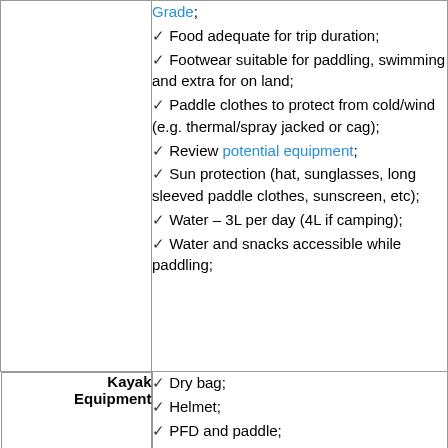| Category | Items |
| --- | --- |
|  | Grade; ✓ Food adequate for trip duration; ✓ Footwear suitable for paddling, swimming and extra for on land; ✓ Paddle clothes to protect from cold/wind (e.g. thermal/spray jacked or cag); ✓ Review potential equipment; ✓ Sun protection (hat, sunglasses, long sleeved paddle clothes, sunscreen, etc); ✓ Water – 3L per day (4L if camping); ✓ Water and snacks accessible while paddling; |
| Kayak Equipment | ✓ Dry bag; ✓ Helmet; ✓ PFD and paddle; |